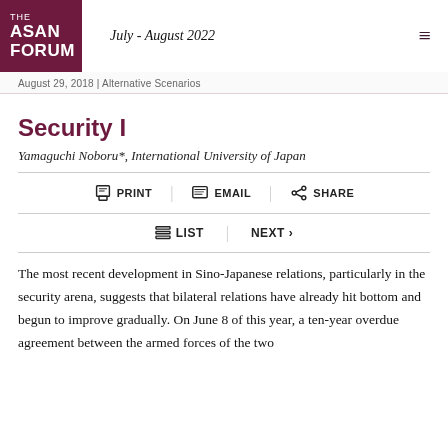THE ASAN FORUM | July - August 2022
August 29, 2018 | Alternative Scenarios
Security I
Yamaguchi Noboru*, International University of Japan
PRINT | EMAIL | SHARE
LIST | NEXT >
The most recent development in Sino-Japanese relations, particularly in the security arena, suggests that bilateral relations have already hit bottom and begun to improve gradually. On June 8 of this year, a ten-year overdue agreement between the armed forces of the two